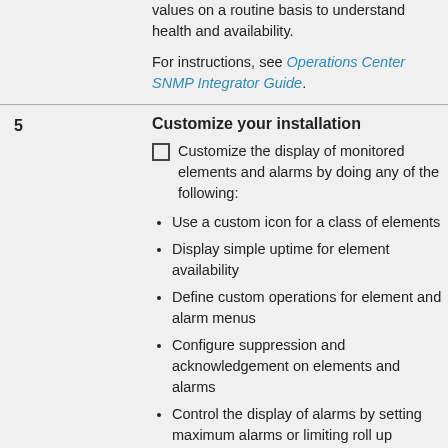values on a routine basis to understand health and availability.
For instructions, see Operations Center SNMP Integrator Guide.
5
Customize your installation
Customize the display of monitored elements and alarms by doing any of the following:
Use a custom icon for a class of elements
Display simple uptime for element availability
Define custom operations for element and alarm menus
Configure suppression and acknowledgement on elements and alarms
Control the display of alarms by setting maximum alarms or limiting roll up